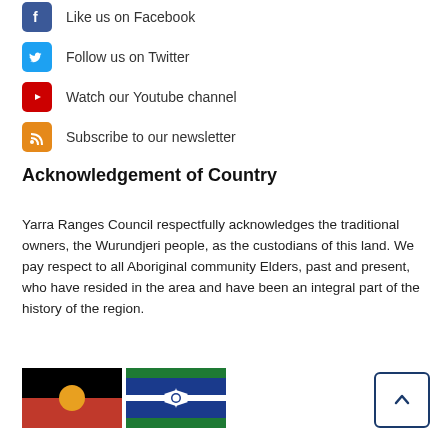Like us on Facebook
Follow us on Twitter
Watch our Youtube channel
Subscribe to our newsletter
Acknowledgement of Country
Yarra Ranges Council respectfully acknowledges the traditional owners, the Wurundjeri people, as the custodians of this land. We pay respect to all Aboriginal community Elders, past and present, who have resided in the area and have been an integral part of the history of the region.
[Figure (illustration): Aboriginal flag (black top half, red bottom half, yellow circle in centre) and Torres Strait Islander flag (blue with green stripes and white star/headdress symbol)]